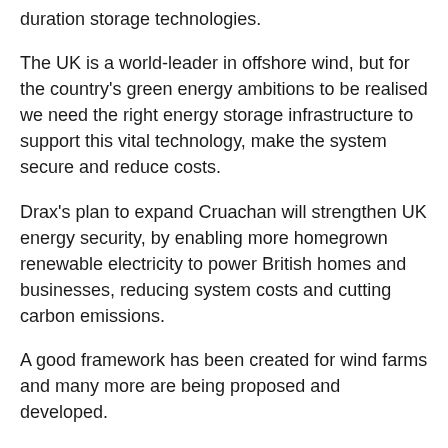duration storage technologies.
The UK is a world-leader in offshore wind, but for the country's green energy ambitions to be realised we need the right energy storage infrastructure to support this vital technology, make the system secure and reduce costs.
Drax's plan to expand Cruachan will strengthen UK energy security, by enabling more homegrown renewable electricity to power British homes and businesses, reducing system costs and cutting carbon emissions.
A good framework has been created for wind farms and many more are being proposed and developed.
Frameworks are needed for both transmission systems and long-duration energy storage capacity.